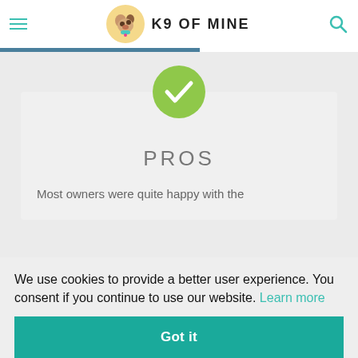K9 OF MINE
PROS
Most owners were quite happy with the
We use cookies to provide a better user experience. You consent if you continue to use our website. Learn more
Got it